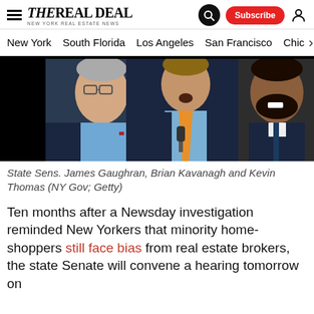THE REAL DEAL — New York Real Estate News
New York  South Florida  Los Angeles  San Francisco  Chic…
[Figure (photo): Three men in suits — State Senators James Gaughran, Brian Kavanagh, and Kevin Thomas — in a collage photo against dark background.]
State Sens. James Gaughran, Brian Kavanagh and Kevin Thomas (NY Gov; Getty)
Ten months after a Newsday investigation reminded New Yorkers that minority home-shoppers still face bias from real estate brokers, the state Senate will convene a hearing tomorrow on